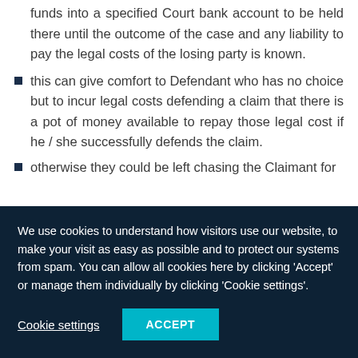funds into a specified Court bank account to be held there until the outcome of the case and any liability to pay the legal costs of the losing party is known.
this can give comfort to Defendant who has no choice but to incur legal costs defending a claim that there is a pot of money available to repay those legal cost if he / she successfully defends the claim.
otherwise they could be left chasing the Claimant for
We use cookies to understand how visitors use our website, to make your visit as easy as possible and to protect our systems from spam. You can allow all cookies here by clicking 'Accept' or manage them individually by clicking 'Cookie settings'.